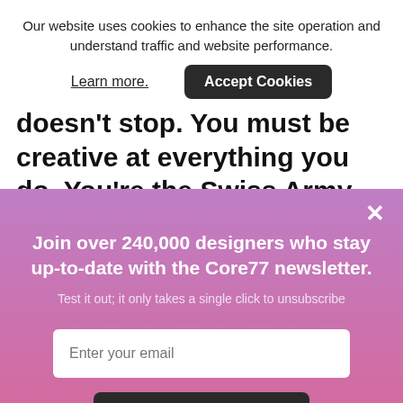Our website uses cookies to enhance the site operation and understand traffic and website performance.
Learn more.
Accept Cookies
doesn't stop. You must be creative at everything you do. You're the Swiss Army Knife."
×
Join over 240,000 designers who stay up-to-date with the Core77 newsletter.
Test it out; it only takes a single click to unsubscribe
Enter your email
Subscribe